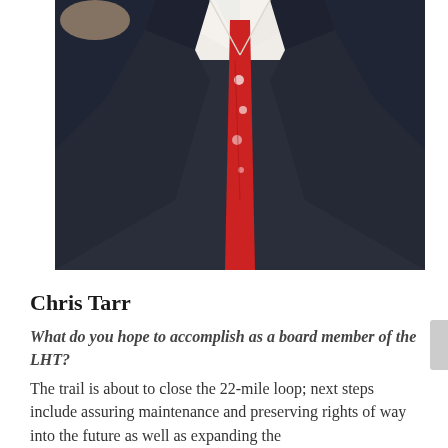[Figure (photo): Professional headshot of a man in a dark navy suit with a red floral tie and white dress shirt, photographed from approximately chest up against a white background.]
Chris Tarr
What do you hope to accomplish as a board member of the LHT? The trail is about to close the 22-mile loop; next steps include assuring maintenance and preserving rights of way into the future as well as expanding the